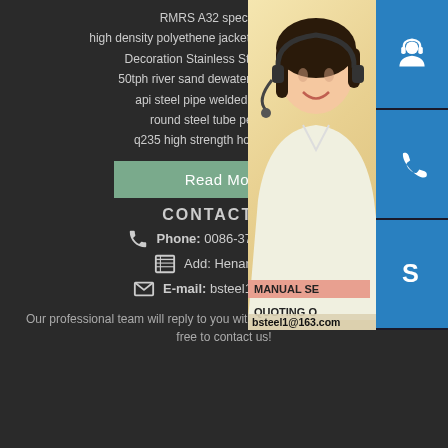RMRS A32 specification
high density polyethene jacket insulation steel pipe
Decoration Stainless Steel Sheets for
50tph river sand dewatering spiral wash
api steel pipe welded steel tube n
round steel tube pe with gre
q235 high strength hollow rectang
Read More
CONTACT US
Phone: 0086-371-86151827
Add: Henan, China
E-mail: bsteel1@163.com
Our professional team will reply to you within one business day.Please feel free to contact us!
[Figure (photo): Customer service representative with headset, contact panel with Skype, phone, and headset icons, email bsteel1@163.com, MANUAL SE and QUOTING O labels]